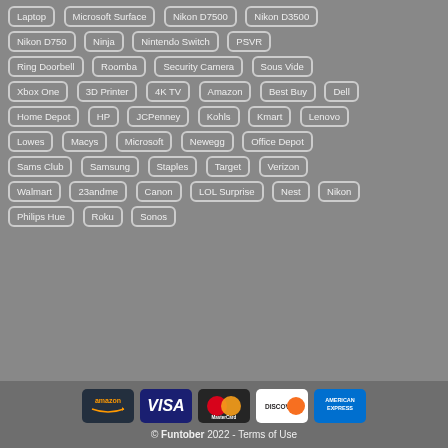Laptop
Microsoft Surface
Nikon D7500
Nikon D3500
Nikon D750
Ninja
Nintendo Switch
PSVR
Ring Doorbell
Roomba
Security Camera
Sous Vide
Xbox One
3D Printer
4K TV
Amazon
Best Buy
Dell
Home Depot
HP
JCPenney
Kohls
Kmart
Lenovo
Lowes
Macys
Microsoft
Newegg
Office Depot
Sams Club
Samsung
Staples
Target
Verizon
Walmart
23andme
Canon
LOL Surprise
Nest
Nikon
Philips Hue
Roku
Sonos
[Figure (other): Payment method icons: Amazon Pay, Visa, MasterCard, Discover, American Express]
© Funtober 2022 - Terms of Use